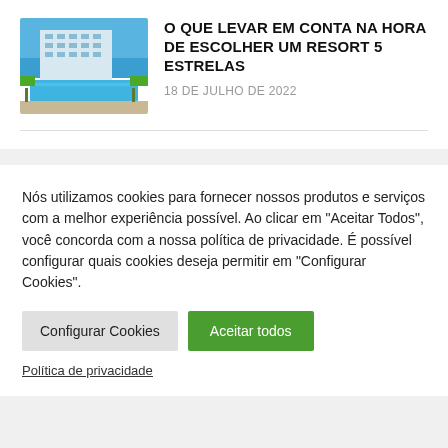[Figure (photo): Aerial/exterior photo of a 5-star resort with a pool and ocean in background]
O QUE LEVAR EM CONTA NA HORA DE ESCOLHER UM RESORT 5 ESTRELAS
18 DE JULHO DE 2022
Nós utilizamos cookies para fornecer nossos produtos e serviços com a melhor experiência possível. Ao clicar em "Aceitar Todos", você concorda com a nossa política de privacidade. É possível configurar quais cookies deseja permitir em "Configurar Cookies".
Configurar Cookies | Aceitar todos
Política de privacidade